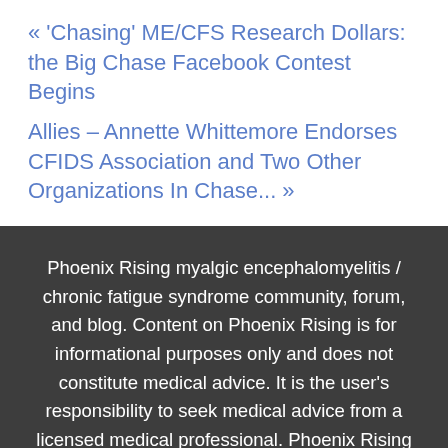« 'Chasing' ME/CFS Research Dollars: the Big Chase Facebook Contest Begins
Allies – Annette Whittemore Endorses CFIDS Association and Two Other Organizations In Chase... »
Phoenix Rising myalgic encephalomyelitis / chronic fatigue syndrome community, forum, and blog. Content on Phoenix Rising is for informational purposes only and does not constitute medical advice. It is the user's responsibility to seek medical advice from a licensed medical professional. Phoenix Rising is not liable for risks or injuries associated with using or acting upon information on this website.